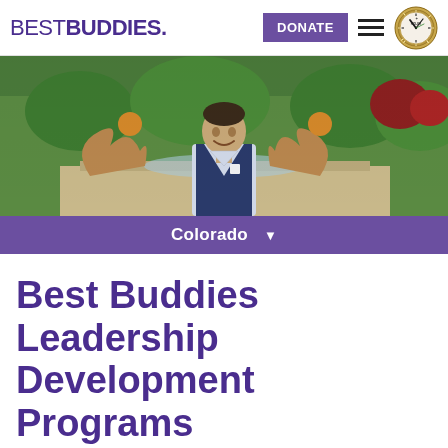BEST BUDDIES.
[Figure (photo): Hero image of a smiling man in a navy vest standing in front of a fountain with bronze sculptures and hanging flower baskets in a park setting.]
Colorado ▼
Best Buddies Leadership Development Programs
Best Buddies Leadership Development programs represents one of our organization's four key